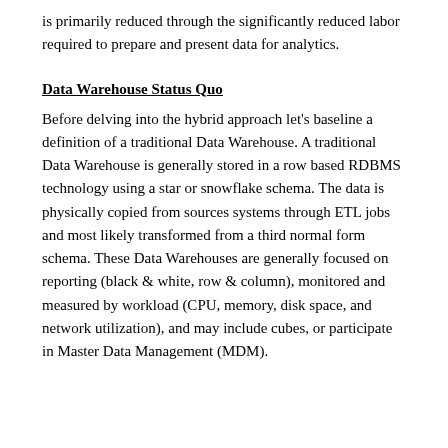is primarily reduced through the significantly reduced labor required to prepare and present data for analytics.
Data Warehouse Status Quo
Before delving into the hybrid approach let's baseline a definition of a traditional Data Warehouse. A traditional Data Warehouse is generally stored in a row based RDBMS technology using a star or snowflake schema. The data is physically copied from sources systems through ETL jobs and most likely transformed from a third normal form schema. These Data Warehouses are generally focused on reporting (black & white, row & column), monitored and measured by workload (CPU, memory, disk space, and network utilization), and may include cubes, or participate in Master Data Management (MDM).